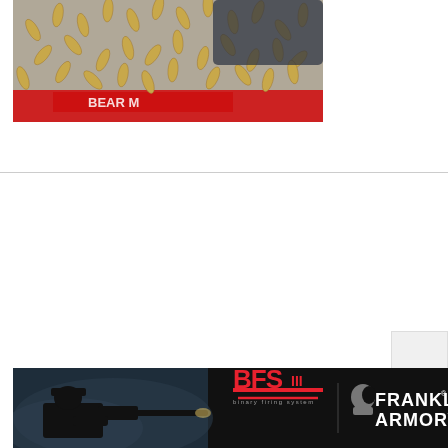[Figure (photo): Photo of scattered rifle ammunition/bullets on a surface with a red Bear brand packaging visible beneath]
[Figure (photo): Franklin Armory advertisement banner showing a shooter aiming a rifle, BFS III logo in red, and Franklin Armory branding in white text on dark background]